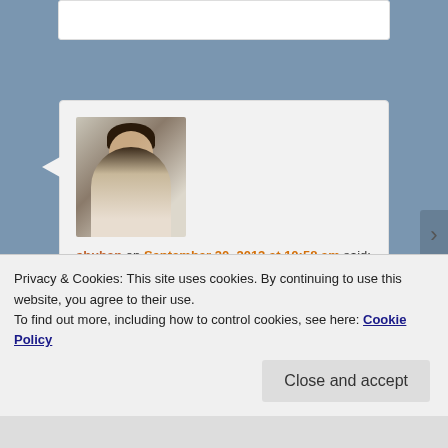[Figure (screenshot): Top portion of a white card/content box from a webpage, partially visible at top of viewport]
[Figure (photo): Avatar photo of user 'shuhan' — a person with dark hair looking downward, wearing white clothing]
shuhan on September 20, 2013 at 10:58 am said:
YES PLEASE. canned peaches i can't do, but peach cake I can, hurrah!
Privacy & Cookies: This site uses cookies. By continuing to use this website, you agree to their use.
To find out more, including how to control cookies, see here: Cookie Policy
Close and accept